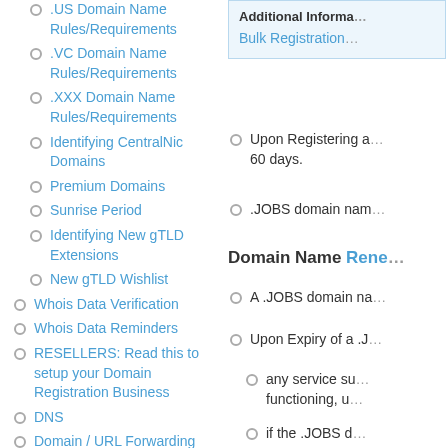.US Domain Name Rules/Requirements
.VC Domain Name Rules/Requirements
.XXX Domain Name Rules/Requirements
Identifying CentralNic Domains
Premium Domains
Sunrise Period
Identifying New gTLD Extensions
New gTLD Wishlist
Whois Data Verification
Whois Data Reminders
RESELLERS: Read this to setup your Domain Registration Business
DNS
Domain / URL Forwarding
Additional Informa
Bulk Registration
Upon Registering a... 60 days.
.JOBS domain nam
Domain Name Rene
A .JOBS domain na
Upon Expiry of a .J
any service su... functioning, u
if the .JOBS d